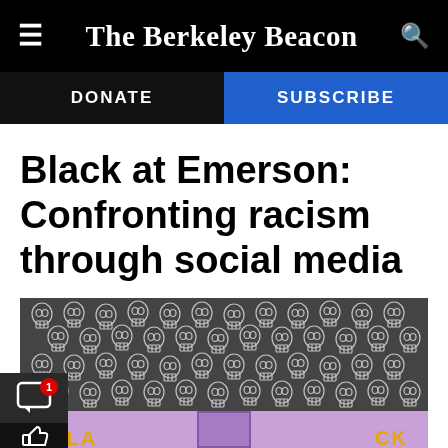The Berkeley Beacon
DONATE
SUBSCRIBE
Black at Emerson: Confronting racism through social media
[Figure (illustration): Dark gray background pattern covered with white outlined cartoon skulls, with a purple strip at the bottom containing a purple door shape, and yellow/orange text partially visible at the base.]